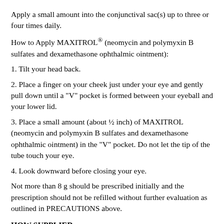Apply a small amount into the conjunctival sac(s) up to three or four times daily.
How to Apply MAXITROL® (neomycin and polymyxin B sulfates and dexamethasone ophthalmic ointment):
1. Tilt your head back.
2. Place a finger on your cheek just under your eye and gently pull down until a "V" pocket is formed between your eyeball and your lower lid.
3. Place a small amount (about ½ inch) of MAXITROL (neomycin and polymyxin B sulfates and dexamethasone ophthalmic ointment) in the "V" pocket. Do not let the tip of the tube touch your eye.
4. Look downward before closing your eye.
Not more than 8 g should be prescribed initially and the prescription should not be refilled without further evaluation as outlined in PRECAUTIONS above.
HOW SUPPLIED
MAXITROL® (neomycin and polymyxin B sulfates and dexamethasone ophthalmic ointment) is supplied as a STERILE ointment in a aluminum tube with a white polyethylene applicator tip.